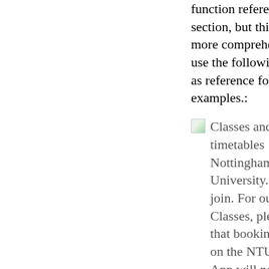function reference section, but this one is more comprehensive. I use the following class as reference for all examples.:
Classes and timetables Nottingham Trent University. How to join. For our Online Classes, please note that booking a space on the NTU Sport App will not give you